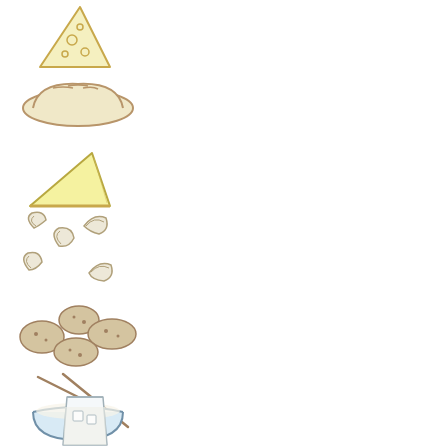[Figure (illustration): Illustration of a wedge of Swiss cheese with holes]
[Figure (illustration): Illustration of a loaf of bread]
[Figure (illustration): Illustration of a wedge/slice of pie or cheese]
[Figure (illustration): Illustration of pasta pieces (macaroni/shells)]
[Figure (illustration): Illustration of potatoes]
[Figure (illustration): Illustration of a bowl of rice with chopsticks]
[Figure (illustration): Illustration of a glass of milk with ice]